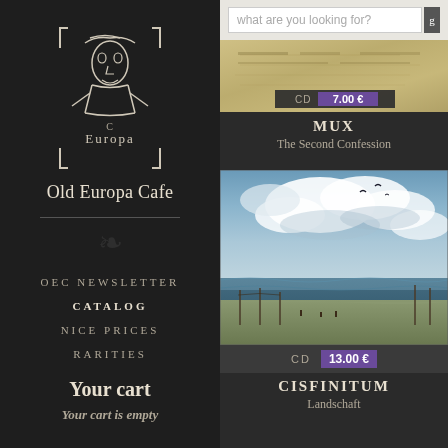[Figure (logo): Old Europa Cafe stylized logo with abstract face/figure in white lines on dark background]
Old Europa Cafe
OEC NEWSLETTER
CATALOG
NICE PRICES
RARITIES
Your cart
Your cart is empty
[Figure (screenshot): Search bar with placeholder text 'what are you looking for?']
[Figure (photo): MUX - The Second Confession album cover, aged document/paper style]
CD  7.00 €
MUX
The Second Confession
[Figure (photo): CISFINITUM - Landschaft album cover, dramatic landscape with stormy sky, birds, seascape]
CD  13.00 €
CISFINITUM
Landschaft